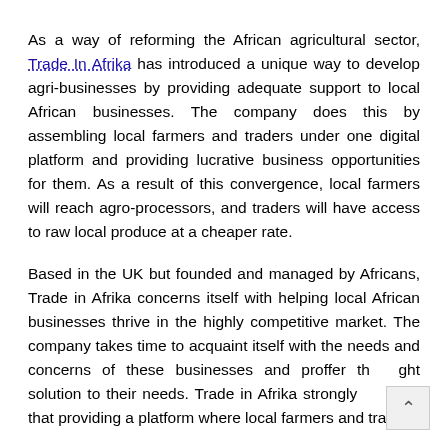As a way of reforming the African agricultural sector, Trade In Afrika has introduced a unique way to develop agri-businesses by providing adequate support to local African businesses. The company does this by assembling local farmers and traders under one digital platform and providing lucrative business opportunities for them. As a result of this convergence, local farmers will reach agro-processors, and traders will have access to raw local produce at a cheaper rate.
Based in the UK but founded and managed by Africans, Trade in Afrika concerns itself with helping local African businesses thrive in the highly competitive market. The company takes time to acquaint itself with the needs and concerns of these businesses and proffer the right solution to their needs. Trade in Afrika strongly believes that providing a platform where local farmers and traders